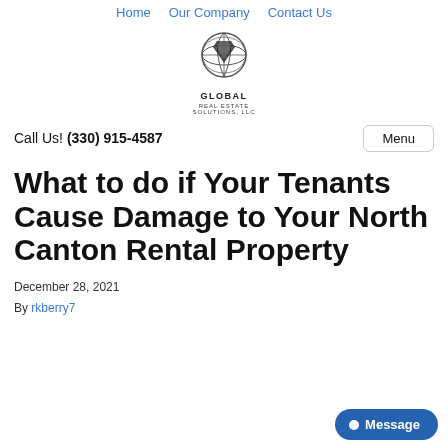Home  Our Company  Contact Us
[Figure (logo): Global Real Estate Solutions, LLC logo with globe icon]
Call Us! (330) 915-4587
What to do if Your Tenants Cause Damage to Your North Canton Rental Property
December 28, 2021
By rkberry7